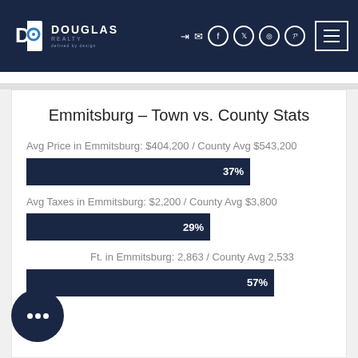[Figure (logo): Douglas Realty logo – white D icon on dark navy header with company name]
Emmitsburg - Town vs. County Stats
Avg Price in Emmitsburg: $404,200 / County Avg $543,200
[Figure (bar-chart): Avg Price comparison bar]
Avg Taxes in Emmitsburg: $2,200 / County Avg $3,800
[Figure (bar-chart): Avg Taxes comparison bar]
Avg Sq Ft. in Emmitsburg: 2,863 / County Avg 2,533
[Figure (bar-chart): Avg Sq Ft comparison bar]